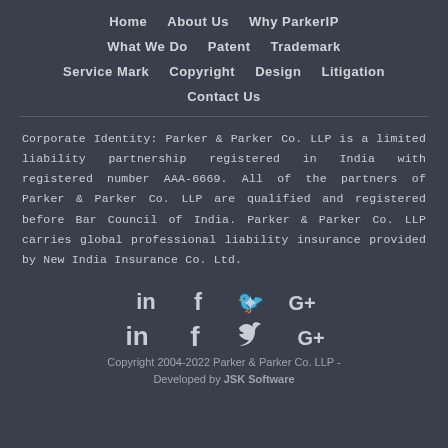Home
About Us
Why ParkerIP
What We Do
Patent
Trademark
Service Mark
Copyright
Design
Litigation
Contact Us
Corporate Identity: Parker & Parker Co. LLP is a limited liability partnership registered in India with registered number AAA-6669. All of the partners of Parker & Parker Co. LLP are qualified and registered before Bar Council of India. Parker & Parker Co. LLP carries global professional liability insurance provided by New India Insurance Co. Ltd.
[Figure (illustration): Social media icons: LinkedIn (in), Facebook (f), Twitter (bird), Google+ (G+)]
Copyright 2004-2022 Parker & Parker Co. LLP - Developed by JSK Software